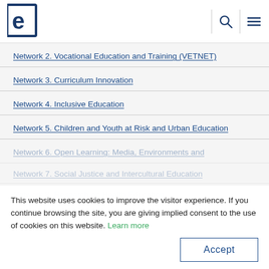[Figure (logo): EERA logo - stylized letter e in dark blue square bracket style]
Network 2. Vocational Education and Training (VETNET)
Network 3. Curriculum Innovation
Network 4. Inclusive Education
Network 5. Children and Youth at Risk and Urban Education
Network 6. Open Learning: Media, Environments and
Network 7. Social Justice and Intercultural Education
Network 8. Research on Health Education
This website uses cookies to improve the visitor experience. If you continue browsing the site, you are giving implied consent to the use of cookies on this website. Learn more
Accept